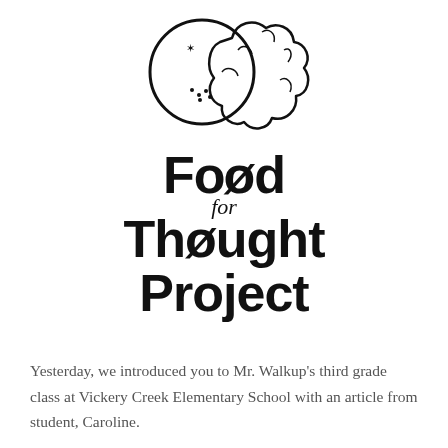[Figure (logo): Food for Thought Project logo: a circle (plate with a star and dots) overlapping a brain silhouette outline]
Food for Thought Project
Yesterday, we introduced you to Mr. Walkup's third grade class at Vickery Creek Elementary School with an article from student, Caroline.